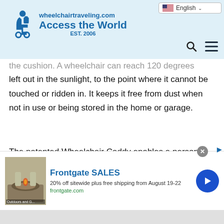wheelchairtraveling.com Access the World EST. 2006 | English
the cushion. A wheelchair can reach 120 degrees when left out in the sunlight, to the point where it cannot be touched or ridden in. It keeps it free from dust when not in use or being stored in the home or garage.
The patented Wheelchair Caddy enables a person to pick up a wheelchair with the arms and legs, and not with their back. The Wheelchair Caddy slips over your wheelchair. Then there is a drawstring that runs down the spine of the...
[Figure (infographic): Frontgate SALES advertisement banner. Shows outdoor fire pit furniture image on left, text '20% off sitewide plus free shipping from August 19-22' and 'frontgate.com', blue arrow button on right.]